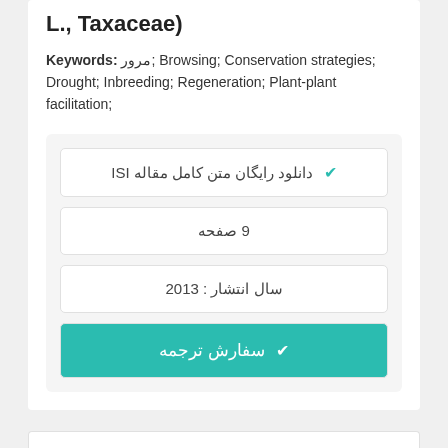L., Taxaceae)
Keywords: مرور; Browsing; Conservation strategies; Drought; Inbreeding; Regeneration; Plant-plant facilitation;
✓ دانلود رایگان متن کامل مقاله ISI
9 صفحه
سال انتشار : 2013
✓ سفارش ترجمه